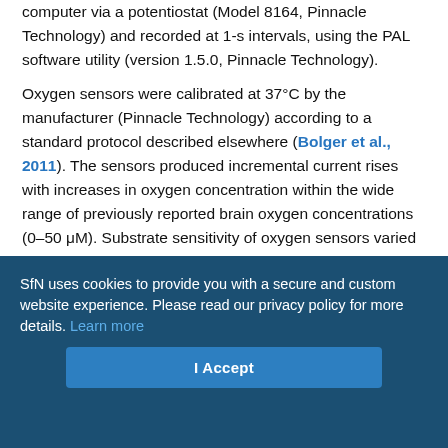computer via a potentiostat (Model 8164, Pinnacle Technology) and recorded at 1-s intervals, using the PAL software utility (version 1.5.0, Pinnacle Technology).
Oxygen sensors were calibrated at 37°C by the manufacturer (Pinnacle Technology) according to a standard protocol described elsewhere (Bolger et al., 2011). The sensors produced incremental current rises with increases in oxygen concentration within the wide range of previously reported brain oxygen concentrations (0–50 μM). Substrate sensitivity of oxygen sensors varied from 1.03–1.8 nA/1 μM (mean = 1.39 nA/1 μM). Oxygen sensors were also tested by the manufacturer for their selectivity toward other electroactive substances, including dopamine (0.4 μM) and ascorbate (250 μM), none of which had significant effects on reduction currents.
SfN uses cookies to provide you with a secure and custom website experience. Please read our privacy policy for more details. Learn more